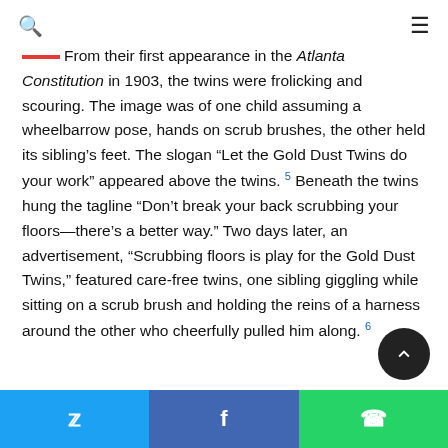Search | Menu
From their first appearance in the Atlanta Constitution in 1903, the twins were frolicking and scouring. The image was of one child assuming a wheelbarrow pose, hands on scrub brushes, the other held its sibling's feet. The slogan “Let the Gold Dust Twins do your work” appeared above the twins. 5 Beneath the twins hung the tagline “Don’t break your back scrubbing your floors—there’s a better way.” Two days later, an advertisement, “Scrubbing floors is play for the Gold Dust Twins,” featured care-free twins, one sibling giggling while sitting on a scrub brush and holding the reins of a harness around the other who cheerfully pulled him along. 6